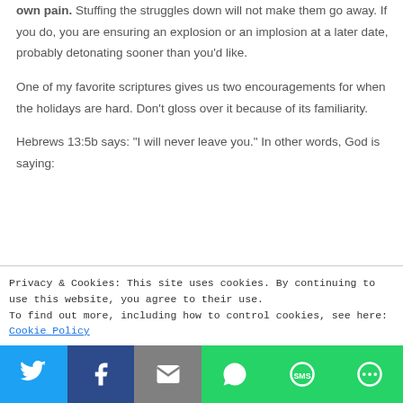own pain. Stuffing the struggles down will not make them go away. If you do, you are ensuring an explosion or an implosion at a later date, probably detonating sooner than you’d like.
One of my favorite scriptures gives us two encouragements for when the holidays are hard. Don’t gloss over it because of its familiarity.
Hebrews 13:5b says: “I will never leave you.” In other words, God is saying:
Privacy & Cookies: This site uses cookies. By continuing to use this website, you agree to their use.
To find out more, including how to control cookies, see here: Cookie Policy
[Figure (infographic): Social share bar with Twitter, Facebook, Email, WhatsApp, SMS, and More buttons]